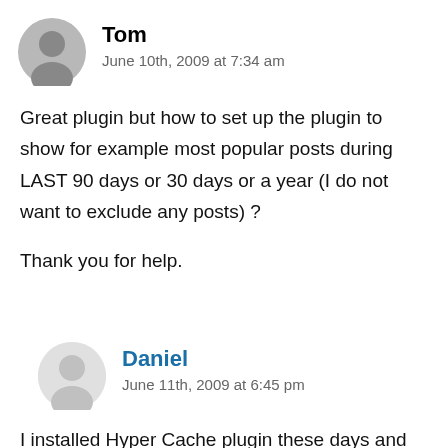Tom
June 10th, 2009 at 7:34 am
Great plugin but how to set up the plugin to show for example most popular posts during LAST 90 days or 30 days or a year (I do not want to exclude any posts) ?
Thank you for help.
Daniel
June 11th, 2009 at 6:45 pm
I installed Hyper Cache plugin these days and two of my latest posts with a long comment from...